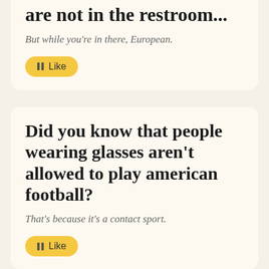are not in the restroom...
But while you're in there, European.
Like
Did you know that people wearing glasses aren't allowed to play american football?
That's because it's a contact sport.
Like
Did you know that Yugi from Yu-